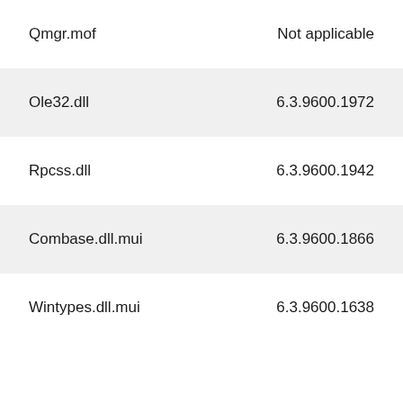| File | Version |
| --- | --- |
| Qmgr.mof | Not applicable |
| Ole32.dll | 6.3.9600.1972 |
| Rpcss.dll | 6.3.9600.1942 |
| Combase.dll.mui | 6.3.9600.1866 |
| Wintypes.dll.mui | 6.3.9600.1638 |